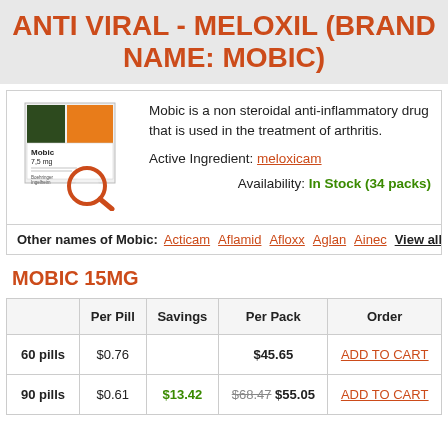ANTI VIRAL - MELOXIL (BRAND NAME: MOBIC)
[Figure (photo): Product image of Mobic 7.5mg tablets box with magnifying glass icon]
Mobic is a non steroidal anti-inflammatory drug that is used in the treatment of arthritis.
Active Ingredient: meloxicam
Availability: In Stock (34 packs)
Other names of Mobic: Acticam Aflamid Afloxx Aglan Ainec View all
MOBIC 15MG
|  | Per Pill | Savings | Per Pack | Order |
| --- | --- | --- | --- | --- |
| 60 pills | $0.76 |  | $45.65 | ADD TO CART |
| 90 pills | $0.61 | $13.42 | $68.47 $55.05 | ADD TO CART |